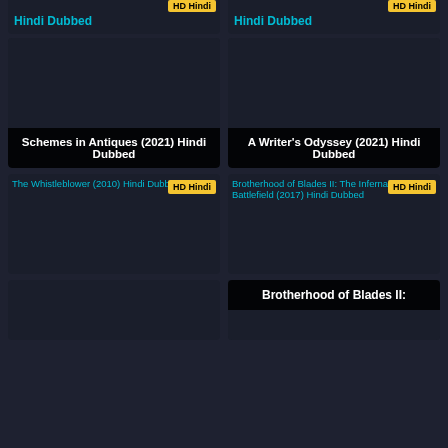[Figure (screenshot): Partial movie card top - Hindi Dubbed with HD Hindi badge]
Hindi Dubbed
[Figure (screenshot): Partial movie card top - Hindi Dubbed with HD Hindi badge]
Hindi Dubbed
[Figure (screenshot): Movie card for Schemes in Antiques (2021) Hindi Dubbed]
Schemes in Antiques (2021) Hindi Dubbed
[Figure (screenshot): Movie card for A Writer's Odyssey (2021) Hindi Dubbed]
A Writer's Odyssey (2021) Hindi Dubbed
[Figure (screenshot): Movie card for The Whistleblower (2010) Hindi Dubbed with HD Hindi badge]
The Whistleblower (2010) Hindi Dubbed
[Figure (screenshot): Movie card for Brotherhood of Blades II: The Infernal Battlefield (2017) Hindi Dubbed with HD Hindi badge]
Brotherhood of Blades II: The Infernal Battlefield (2017) Hindi Dubbed
Brotherhood of Blades II: